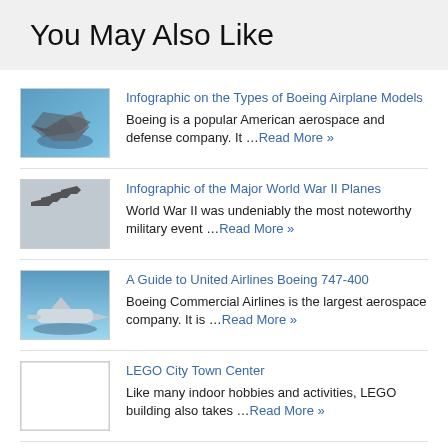You May Also Like
Infographic on the Types of Boeing Airplane Models — Boeing is a popular American aerospace and defense company. It …Read More »
Infographic of the Major World War II Planes — World War II was undeniably the most noteworthy military event …Read More »
A Guide to United Airlines Boeing 747-400 — Boeing Commercial Airlines is the largest aerospace company. It is …Read More »
LEGO City Town Center — Like many indoor hobbies and activities, LEGO building also takes …Read More »
Having Fun with the Lego City Passenger Train — Despite having the opportunity to be with the family due …Read More »